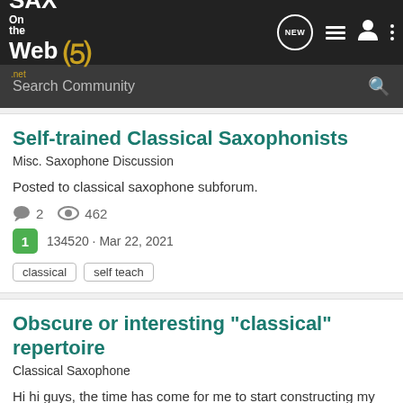SAX on the Web
Search Community
Self-trained Classical Saxophonists
Misc. Saxophone Discussion
Posted to classical saxophone subforum.
2  462
1  134520 · Mar 22, 2021
classical  self teach
Obscure or interesting "classical" repertoire
Classical Saxophone
Hi hi guys, the time has come for me to start constructing my final year recital, a 40 minute programme. My teacher has encouraged me to look outside the box when it comes to